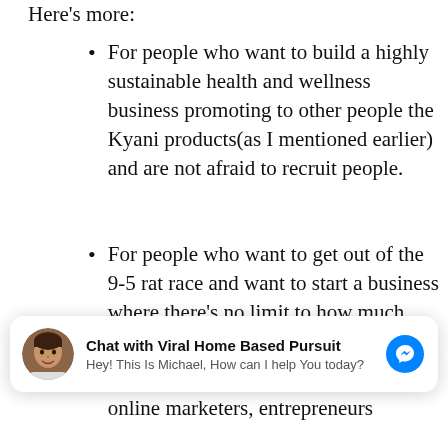Here's more:
For people who want to build a highly sustainable health and wellness business promoting to other people the Kyani products(as I mentioned earlier) and are not afraid to recruit people.
For people who want to get out of the 9-5 rat race and want to start a business where there's no limit to how much you can earn.
[Figure (screenshot): Chat widget overlay: avatar photo of Michael, bold text 'Chat with Viral Home Based Pursuit', subtitle 'Hey! This Is Michael, How can I help You today?', and a blue Messenger icon button on the right.]
online marketers, entrepreneurs